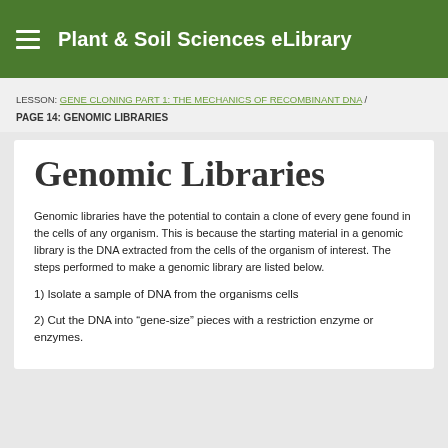Plant & Soil Sciences eLibrary
LESSON: GENE CLONING PART 1: THE MECHANICS OF RECOMBINANT DNA / PAGE 14: GENOMIC LIBRARIES
Genomic Libraries
Genomic libraries have the potential to contain a clone of every gene found in the cells of any organism. This is because the starting material in a genomic library is the DNA extracted from the cells of the organism of interest. The steps performed to make a genomic library are listed below.
1) Isolate a sample of DNA from the organisms cells
2) Cut the DNA into “gene-size” pieces with a restriction enzyme or enzymes.